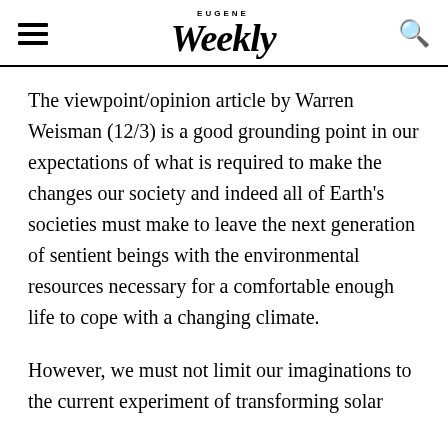EUGENE Weekly
The viewpoint/opinion article by Warren Weisman (12/3) is a good grounding point in our expectations of what is required to make the changes our society and indeed all of Earth's societies must make to leave the next generation of sentient beings with the environmental resources necessary for a comfortable enough life to cope with a changing climate.
However, we must not limit our imaginations to the current experiment of transforming solar